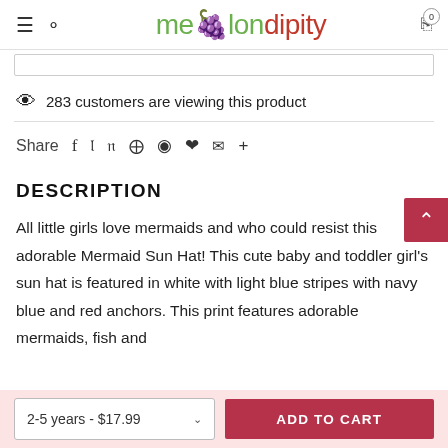melondipity
283 customers are viewing this product
Share  f  Twitter  Pinterest  Grid  Pin  Heart  Mail  +
DESCRIPTION
All little girls love mermaids and who could resist this adorable Mermaid Sun Hat! This cute baby and toddler girl's sun hat is featured in white with light blue stripes with navy blue and red anchors. This print features adorable mermaids, fish and
2-5 years - $17.99   ADD TO CART